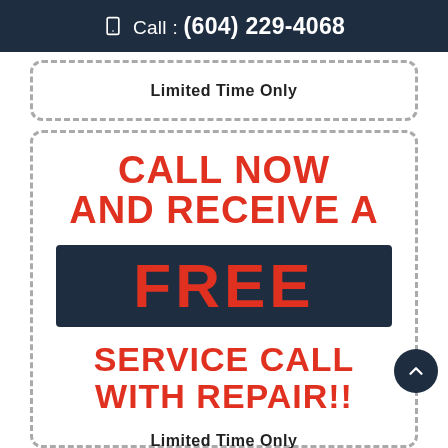Call : (604) 229-4068
Limited Time Only
CALL NOW AND RECEIVE A FREE SERVICE CALL WITH REPAIR!!
Limited Time Only